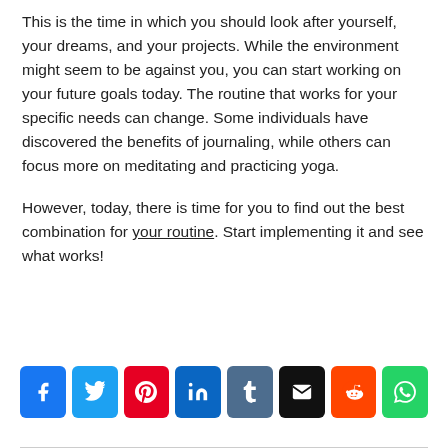This is the time in which you should look after yourself, your dreams, and your projects. While the environment might seem to be against you, you can start working on your future goals today. The routine that works for your specific needs can change. Some individuals have discovered the benefits of journaling, while others can focus more on meditating and practicing yoga.
However, today, there is time for you to find out the best combination for your routine. Start implementing it and see what works!
[Figure (infographic): Social media share buttons row: Facebook (blue), Twitter (light blue), Pinterest (red), LinkedIn (dark blue), Tumblr (slate), Email (black), Reddit (orange-red), WhatsApp (green)]